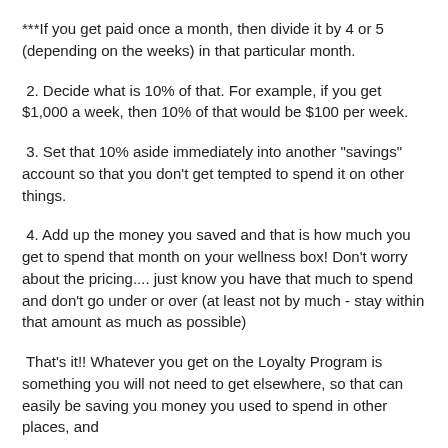***If you get paid once a month, then divide it by 4 or 5 (depending on the weeks) in that particular month.
2. Decide what is 10% of that. For example, if you get $1,000 a week, then 10% of that would be $100 per week.
3. Set that 10% aside immediately into another "savings" account so that you don't get tempted to spend it on other things.
4. Add up the money you saved and that is how much you get to spend that month on your wellness box! Don't worry about the pricing.... just know you have that much to spend and don't go under or over (at least not by much - stay within that amount as much as possible)
That's it!! Whatever you get on the Loyalty Program is something you will not need to get elsewhere, so that can easily be saving you money you used to spend in other places, and